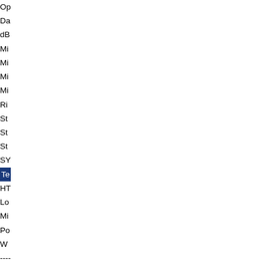Op...
Da...
dB...
Mic...
Mic...
Mic...
Mic...
Ric...
Sta...
Sta...
Sta...
SYI...
Tex... (highlighted/selected)
HT...
Lot...
Mic...
Poc...
We...
-----
Op...
Op...
Op...
4.
The win sho nov loo like this